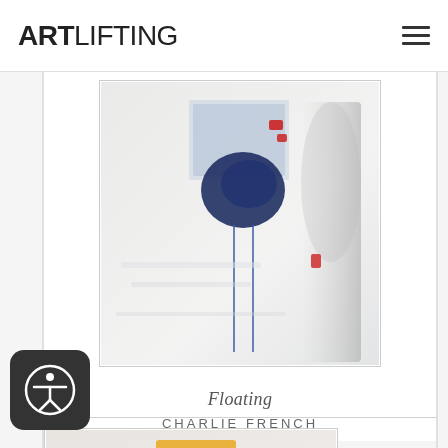ARTLIFTING
[Figure (illustration): Abstract painting titled 'Floating' by Charlie French. Predominantly white and light grey background with dark navy blue abstract shape in the upper center, two thin blue vertical lines dripping downward, small red accent marks, and grey brushstrokes on the right side.]
Floating
CHARLIE FRENCH
[Figure (illustration): Partially visible abstract painting with yellow/orange brushstrokes on a light background with hints of blue, partially cropped at the bottom of the page.]